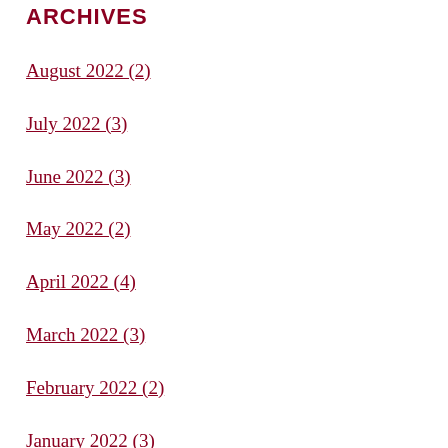ARCHIVES
August 2022 (2)
July 2022 (3)
June 2022 (3)
May 2022 (2)
April 2022 (4)
March 2022 (3)
February 2022 (2)
January 2022 (3)